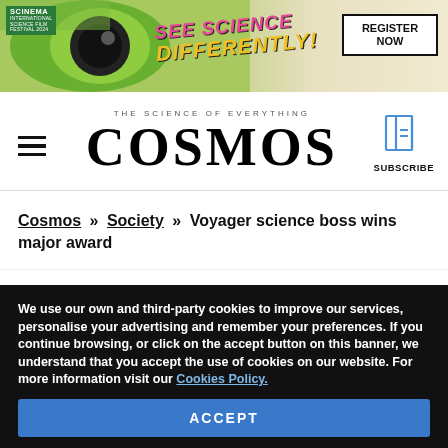[Figure (illustration): Scinema science film festival banner ad with green eye graphic, 'SEE SCIENCE DIFFERENTLY!' text in pink/yellow, and a 'REGISTER NOW' button on the right.]
THE SCIENCE OF EVERYTHING
COSMOS
SUBSCRIBE
Cosmos » Society » Voyager science boss wins major award
We use our own and third-party cookies to improve our services, personalise your advertising and remember your preferences. If you continue browsing, or click on the accept button on this banner, we understand that you accept the use of cookies on our website. For more information visit our Cookies Policy.
ACCEPT